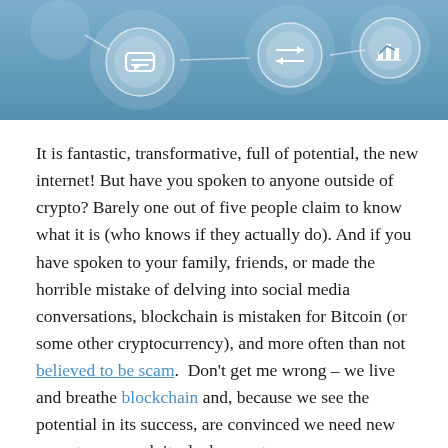[Figure (illustration): Light blue decorative banner with circular icons on chains representing blockchain/technology concepts: speech bubbles, arrows/transfer, and a chart/graph icon]
It is fantastic, transformative, full of potential, the new internet! But have you spoken to anyone outside of crypto? Barely one out of five people claim to know what it is (who knows if they actually do). And if you have spoken to your family, friends, or made the horrible mistake of delving into social media conversations, blockchain is mistaken for Bitcoin (or some other cryptocurrency), and more often than not believed to be scam.  Don't get me wrong – we live and breathe blockchain and, because we see the potential in its success, are convinced we need new ways to approach its deployment.